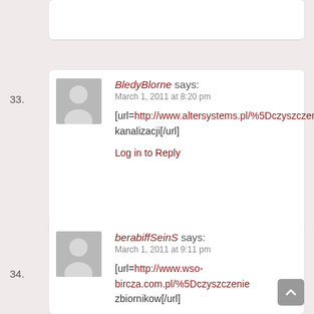33.
[Figure (illustration): Default user avatar silhouette for comment 33]
BledyBlorne says:
March 1, 2011 at 8:20 pm
[url=http://www.altersystems.pl/%5Dczyszczenie kanalizacji[/url]
Log in to Reply
34.
[Figure (illustration): Default user avatar silhouette for comment 34]
berabiffSeinS says:
March 1, 2011 at 9:11 pm
[url=http://www.wso-bircza.com.pl/%5Dczyszczenie zbiornikow[/url]
Log in to Reply